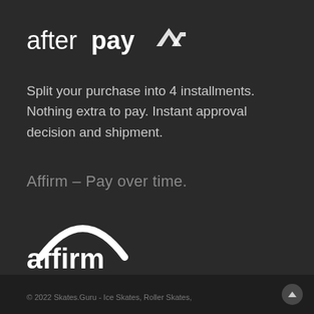[Figure (logo): Afterpay logo with stylized triangle/arrow icon next to the text]
Split your purchase into 4 installments. Nothing extra to pay. Instant approval decision and shipment.
Affirm – Pay over time.
[Figure (logo): Affirm logo with white arc/arch above the word affirm in white bold text]
Make easy monthly payments over 3, 6, or 12 months.
© 2022 Skates.Guru - Ice Skates, Roller Skates,